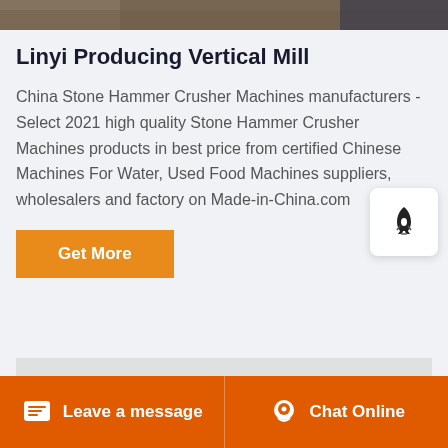[Figure (photo): Top banner image showing stone/dirt construction site material]
Linyi Producing Vertical Mill
China Stone Hammer Crusher Machines manufacturers - Select 2021 high quality Stone Hammer Crusher Machines products in best price from certified Chinese Machines For Water, Used Food Machines suppliers, wholesalers and factory on Made-in-China.com
[Figure (logo): Rocket icon badge widget]
[Figure (photo): Bottom image showing light gray industrial product or surface]
Leave a message   Chat Online